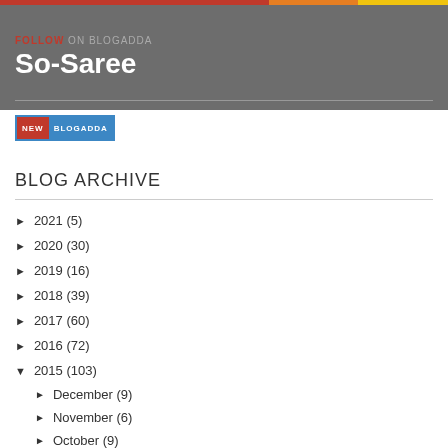FOLLOW ON BLOGADDA — So-Saree
[Figure (logo): NEW BLOGADDA badge with red NEW and blue BLOGADDA text]
BLOG ARCHIVE
► 2021 (5)
► 2020 (30)
► 2019 (16)
► 2018 (39)
► 2017 (60)
► 2016 (72)
▼ 2015 (103)
► December (9)
► November (6)
► October (9)